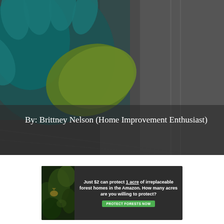[Figure (photo): A person wearing blue rubber gloves cleaning a surface with a green microfiber cloth. The background is dark grey/charcoal, likely a window frame or glass surface being wiped.]
By: Brittney Nelson (Home Improvement Enthusiast)
[Figure (infographic): Advertisement banner with forest image on the left and dark background on the right with text: 'Just $2 can protect 1 acre of irreplaceable forest homes in the Amazon. How many acres are you willing to protect?' with a green 'PROTECT FORESTS NOW' button.]